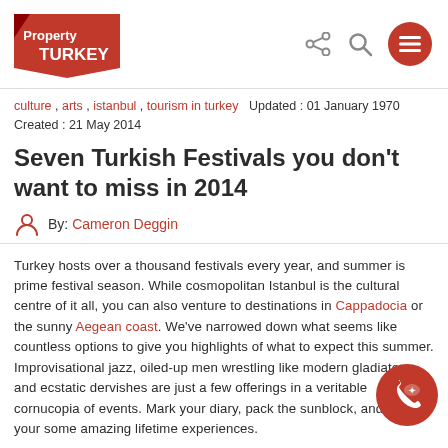Property TURKEY
culture , arts , istanbul , tourism in turkey   Updated : 01 January 1970 Created : 21 May 2014
Seven Turkish Festivals you don't want to miss in 2014
By: Cameron Deggin
Turkey hosts over a thousand festivals every year, and summer is prime festival season. While cosmopolitan Istanbul is the cultural centre of it all, you can also venture to destinations in Cappadocia or the sunny Aegean coast. We've narrowed down what seems like countless options to give you highlights of what to expect this summer. Improvisational jazz, oiled-up men wrestling like modern gladiators, and ecstatic dervishes are just a few offerings in a veritable cornucopia of events. Mark your diary, pack the sunblock, and prepare your some amazing lifetime experiences.
1. Istanbul International Jazz Festival
02-19, July, Istanbul